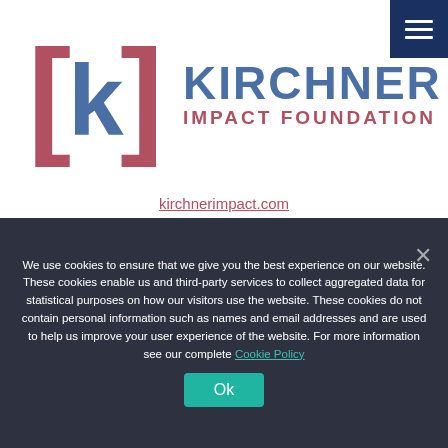[Figure (logo): Kirchner Impact Foundation logo with bracket-k symbol in rose/blue and KIRCHNER IMPACT FOUNDATION text]
kirchnerimpact.com
KIRCHNER IMPACT FOUNDATION
We use cookies to ensure that we give you the best experience on our website. These cookies enable us and third-party services to collect aggregated data for statistical purposes on how our visitors use the website. These cookies do not contain personal information such as names and email addresses and are used to help us improve your user experience of the website. For more information see our complete Cookie Policy